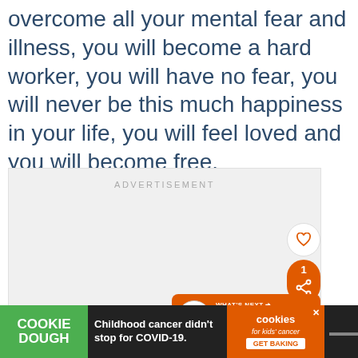overcome all your mental fear and illness, you will become a hard worker, you will have no fear, you will never be this much happiness in your life, you will feel loved and you will become free.
[Figure (other): Advertisement placeholder box with label ADVERTISEMENT and UI elements: heart/like button, share button with count 1, What's Next navigation to Job Confirmatio...]
[Figure (other): Cookie Dough advertisement banner at bottom: green Cookie Dough logo, text Childhood cancer didn't stop for COVID-19, orange cookies for kids cancer GET BAKING section with close button, and mute icon]